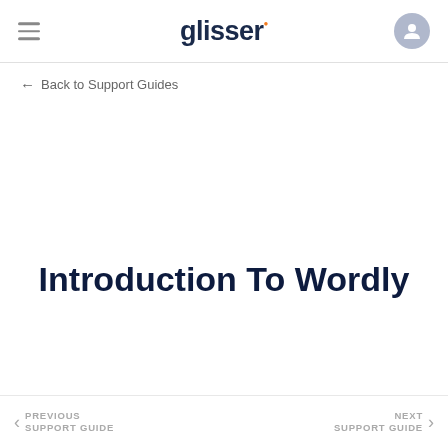glisser. (logo) | hamburger menu | user icon
← Back to Support Guides
Introduction To Wordly
PREVIOUS SUPPORT GUIDE  |  NEXT SUPPORT GUIDE